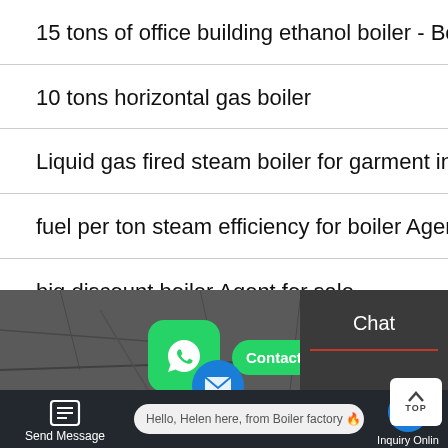15 tons of office building ethanol boiler - Boiler manufacturer
10 tons horizontal gas boiler
Liquid gas fired steam boiler for garment industry
fuel per ton steam efficiency for boiler Agent
big discount boiler Agent for sale
Aquecedores De Boiler A Gas
[Figure (screenshot): WhatsApp contact button with green icon and 'Contact us now!' button, dark background with stone texture, bottom bar with Send Message and Inquiry Online, chat bubble with 'Hello, Helen here, from Boiler factory']